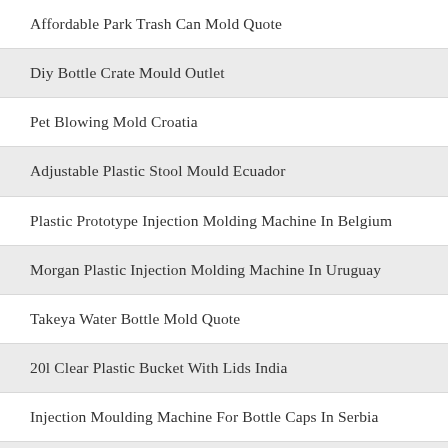Affordable Park Trash Can Mold Quote
Diy Bottle Crate Mould Outlet
Pet Blowing Mold Croatia
Adjustable Plastic Stool Mould Ecuador
Plastic Prototype Injection Molding Machine In Belgium
Morgan Plastic Injection Molding Machine In Uruguay
Takeya Water Bottle Mold Quote
20l Clear Plastic Bucket With Lids India
Injection Moulding Machine For Bottle Caps In Serbia
Ropak Square Bucket Mould Jordan